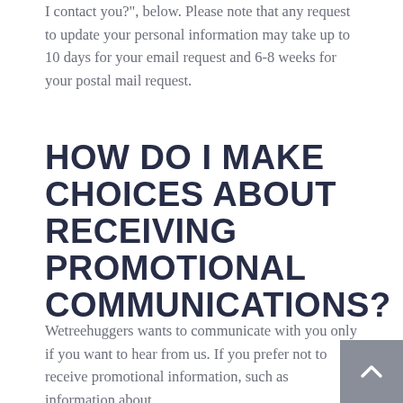I contact you?", below. Please note that any request to update your personal information may take up to 10 days for your email request and 6-8 weeks for your postal mail request.
HOW DO I MAKE CHOICES ABOUT RECEIVING PROMOTIONAL COMMUNICATIONS?
Wetreehuggers wants to communicate with you only if you want to hear from us. If you prefer not to receive promotional information, such as information about